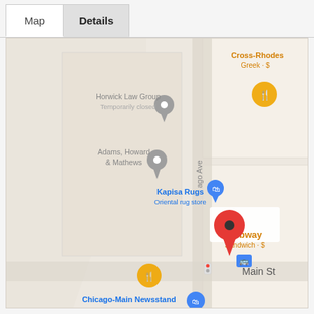[Figure (screenshot): Tab interface with 'Map' and 'Details' tabs, with a Google Maps screenshot below showing a map centered near Subway sandwich shop at Evanston, IL area. Visible locations: Horwick Law Group (Temporarily closed), Adams Howard & Mathews, Kapisa Rugs (Oriental rug store), Subway (Sandwich · $), Cross-Rhodes (Greek · $), Chicago-Main Newsstand. A red location pin marks the main location. Streets include an avenue running vertically and Main St at the bottom.]